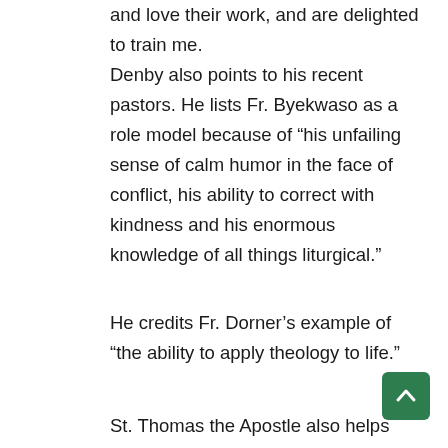and love their work, and are delighted to train me.
Denby also points to his recent pastors. He lists Fr. Byekwaso as a role model because of “his unfailing sense of calm humor in the face of conflict, his ability to correct with kindness and his enormous knowledge of all things liturgical.”
He credits Fr. Dorner’s example of “the ability to apply theology to life.”
St. Thomas the Apostle also helps guide Denby, who has spent most of his professional career working as a trust officer.
“By his example, we know that we may question